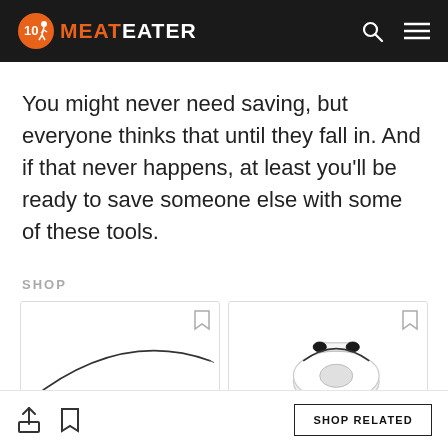MeatEater
You might never need saving, but everyone thinks that until they fall in. And if that never happens, at least you'll be ready to save someone else with some of these tools.
SHOP
[Figure (photo): Product card showing a curved fishing rod or similar tool (partial view)]
[Figure (photo): Product card showing a white fishing reel (partial view)]
SHOP RELATED